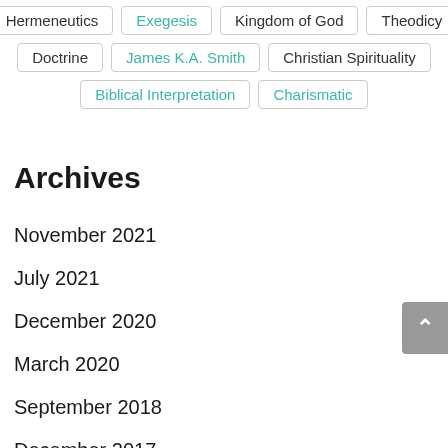Hermeneutics
Exegesis
Kingdom of God
Theodicy
Doctrine
James K.A. Smith
Christian Spirituality
Biblical Interpretation
Charismatic
Archives
November 2021
July 2021
December 2020
March 2020
September 2018
December 2017
July 2017